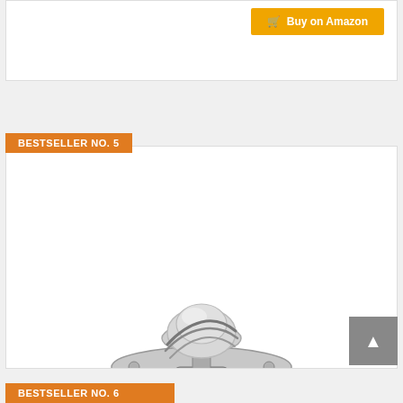[Figure (other): Top of previous product card with Buy on Amazon button]
BESTSELLER NO. 5
[Figure (photo): Photo of Superstat Premium Thermostat - a metal automotive thermostat with coil spring and dome valve]
Superstat ® Premium Thermostat
$14.78 ✓Prime
Buy on Amazon
BESTSELLER NO. 6